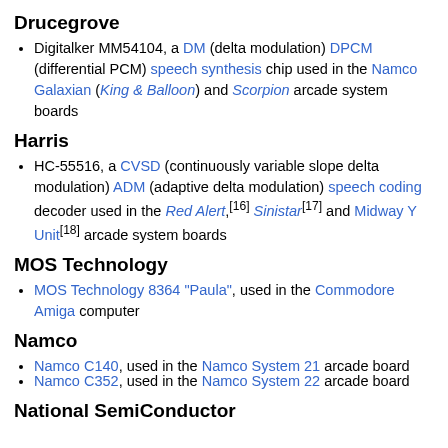Drucegrove
Digitalker MM54104, a DM (delta modulation) DPCM (differential PCM) speech synthesis chip used in the Namco Galaxian (King & Balloon) and Scorpion arcade system boards
Harris
HC-55516, a CVSD (continuously variable slope delta modulation) ADM (adaptive delta modulation) speech coding decoder used in the Red Alert,[16] Sinistar[17] and Midway Y Unit[18] arcade system boards
MOS Technology
MOS Technology 8364 "Paula", used in the Commodore Amiga computer
Namco
Namco C140, used in the Namco System 21 arcade board
Namco C352, used in the Namco System 22 arcade board
National SemiConductor